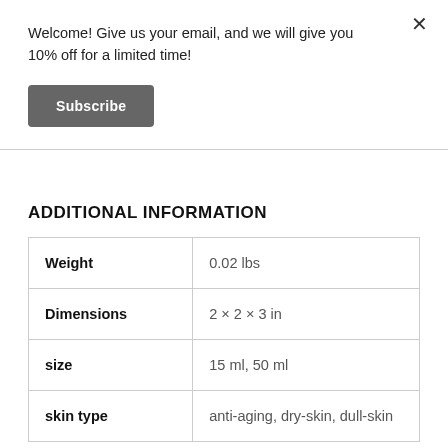Welcome! Give us your email, and we will give you 10% off for a limited time!
Subscribe
ADDITIONAL INFORMATION
|  |  |
| --- | --- |
| Weight | 0.02 lbs |
| Dimensions | 2 × 2 × 3 in |
| size | 15 ml, 50 ml |
| skin type | anti-aging, dry-skin, dull-skin |